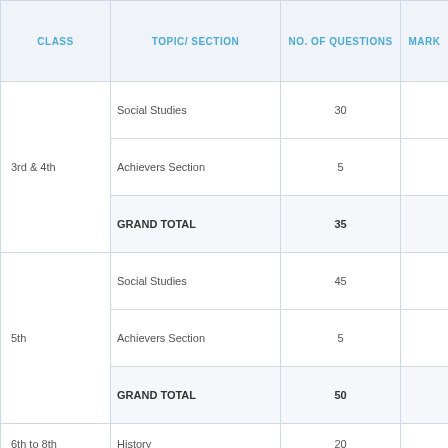| CLASS | TOPIC/ SECTION | NO. OF QUESTIONS | MARK |
| --- | --- | --- | --- |
| 3rd & 4th | Social Studies | 30 |  |
|  | Achievers Section | 5 |  |
|  | GRAND TOTAL | 35 |  |
| 5th | Social Studies | 45 |  |
|  | Achievers Section | 5 |  |
|  | GRAND TOTAL | 50 |  |
| 6th to 8th | History | 20 |  |